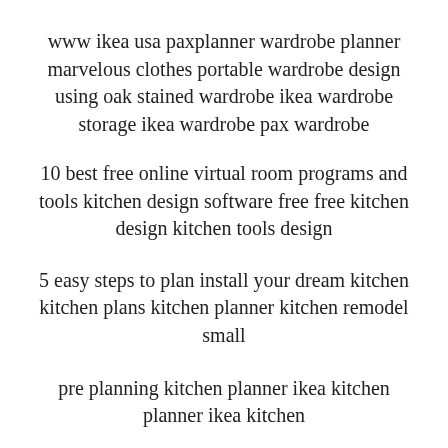www ikea usa paxplanner wardrobe planner marvelous clothes portable wardrobe design using oak stained wardrobe ikea wardrobe storage ikea wardrobe pax wardrobe
10 best free online virtual room programs and tools kitchen design software free free kitchen design kitchen tools design
5 easy steps to plan install your dream kitchen kitchen plans kitchen planner kitchen remodel small
pre planning kitchen planner ikea kitchen planner ikea kitchen